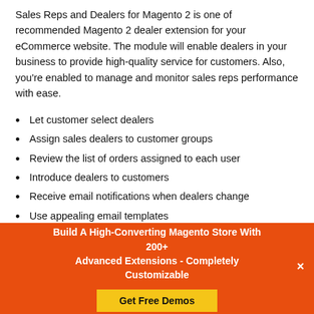Sales Reps and Dealers for Magento 2 is one of recommended Magento 2 dealer extension for your eCommerce website. The module will enable dealers in your business to provide high-quality service for customers. Also, you're enabled to manage and monitor sales reps performance with ease.
Let customer select dealers
Assign sales dealers to customer groups
Review the list of orders assigned to each user
Introduce dealers to customers
Receive email notifications when dealers change
Use appealing email templates
Quickly shift dealers between orders
Build A High-Converting Magento Store With 200+ Advanced Extensions - Completely Customizable
Get Free Demos